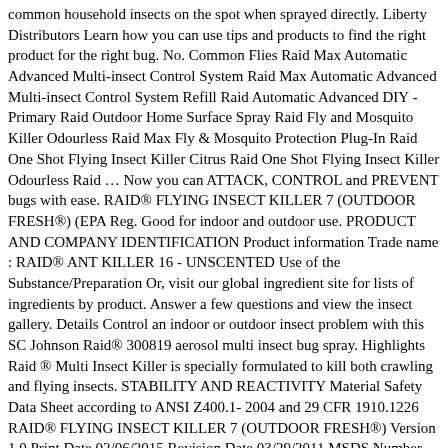common household insects on the spot when sprayed directly. Liberty Distributors Learn how you can use tips and products to find the right product for the right bug. No. Common Flies Raid Max Automatic Advanced Multi-insect Control System Raid Max Automatic Advanced Multi-insect Control System Refill Raid Automatic Advanced DIY - Primary Raid Outdoor Home Surface Spray Raid Fly and Mosquito Killer Odourless Raid Max Fly & Mosquito Protection Plug-In Raid One Shot Flying Insect Killer Citrus Raid One Shot Flying Insect Killer Odourless Raid … Now you can ATTACK, CONTROL and PREVENT bugs with ease. RAID® FLYING INSECT KILLER 7 (OUTDOOR FRESH®) (EPA Reg. Good for indoor and outdoor use. PRODUCT AND COMPANY IDENTIFICATION Product information Trade name : RAID® ANT KILLER 16 - UNSCENTED Use of the Substance/Preparation Or, visit our global ingredient site for lists of ingredients by product. Answer a few questions and view the insect gallery. Details Control an indoor or outdoor insect problem with this SC Johnson Raid® 300819 aerosol multi insect bug spray. Highlights Raid ® Multi Insect Killer is specially formulated to kill both crawling and flying insects. STABILITY AND REACTIVITY Material Safety Data Sheet according to ANSI Z400.1- 2004 and 29 CFR 1910.1226 RAID® FLYING INSECT KILLER 7 (OUTDOOR FRESH®) Version 1.0 Print Date 02/06/2015 Revision Date 03/29/2011 MSDS Number 350000016793 SITE_FORM Number 300000000000000012425.001 2/9 Ingestion : May cause irritation to mouth, throat and stomach. Further information : Fight fire from maximum distance or protected area. No. If you're a business or are emergency personnel wondering how SC Johnson products should be handled, stored or disposed of in the workplace, the SDS can help you out. Shop for more. I ...